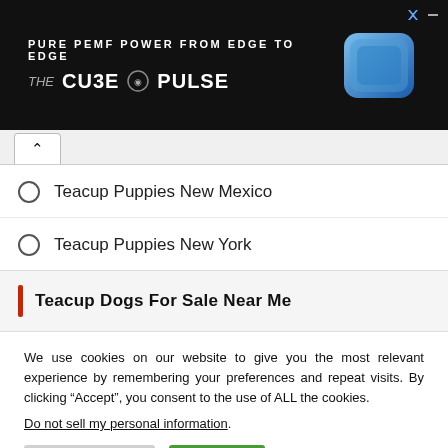[Figure (illustration): Advertisement banner with dark background. Text reads 'PURE PEMF POWER FROM EDGE TO EDGE' and 'THE CU3E PULSE' with a blue square device image on the right.]
Teacup Puppies New Mexico
Teacup Puppies New York
Teacup Dogs For Sale Near Me
We use cookies on our website to give you the most relevant experience by remembering your preferences and repeat visits. By clicking “Accept”, you consent to the use of ALL the cookies.
Do not sell my personal information.
Cookie Settings   Accept